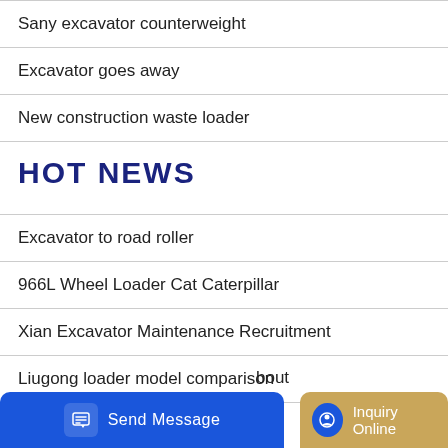Sany excavator counterweight
Excavator goes away
New construction waste loader
HOT NEWS
Excavator to road roller
966L Wheel Loader Cat Caterpillar
Xian Excavator Maintenance Recruitment
Liugong loader model comparison
bout
Free Dictionary